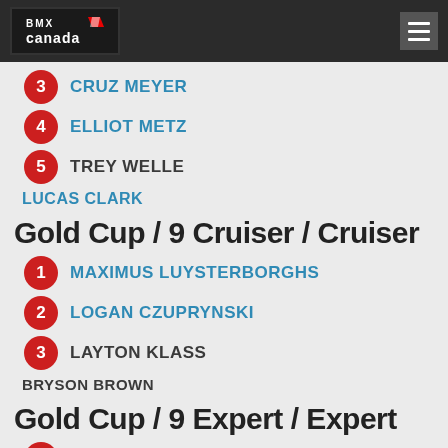BMX Canada
3 CRUZ MEYER
4 ELLIOT METZ
5 TREY WELLE
LUCAS CLARK
Gold Cup / 9 Cruiser / Cruiser
1 MAXIMUS LUYSTERBORGHS
2 LOGAN CZUPRYNSKI
3 LAYTON KLASS
BRYSON BROWN
Gold Cup / 9 Expert / Expert
1 RYLEY ROJAS
2 LOGAN WALLACE